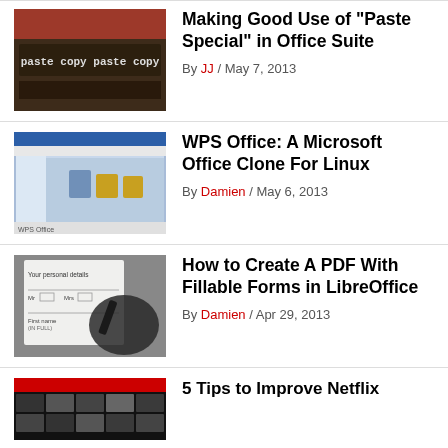[Figure (photo): Thumbnail showing text 'paste copy paste copy' on a dark surface]
Making Good Use of “Paste Special” in Office Suite
By JJ / May 7, 2013
[Figure (screenshot): WPS Office application screenshot with blue interface]
WPS Office: A Microsoft Office Clone For Linux
By Damien / May 6, 2013
[Figure (photo): Hand filling out a form with text 'Your personal details', 'Mr', 'Mrs', 'First name (IN FULL)']
How to Create A PDF With Fillable Forms in LibreOffice
By Damien / Apr 29, 2013
[Figure (screenshot): Netflix interface screenshot with movie thumbnails]
5 Tips to Improve Netflix